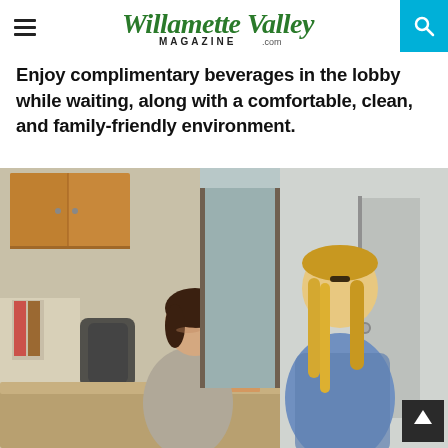Willamette Valley Magazine .com
Enjoy complimentary beverages in the lobby while waiting, along with a comfortable, clean, and family-friendly environment.
[Figure (photo): A smiling brunette receptionist behind a counter speaks with a blonde woman in a denim jacket in a medical or professional office lobby. Wooden cabinets, brochure rack, and office chair visible in background.]